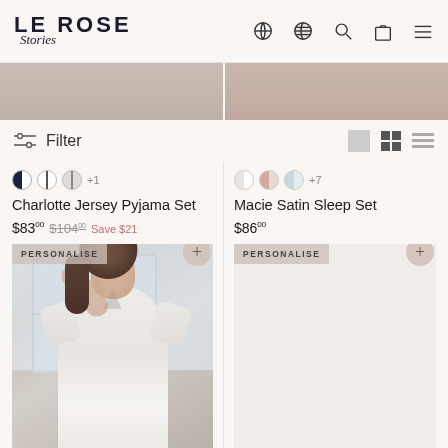LE ROSE Stories
Filter
Charlotte Jersey Pyjama Set
$83.00  $104.00  Save $21
PERSONALISE
[Figure (photo): Woman wearing white jersey pyjama set standing near window]
Macie Satin Sleep Set
$86.00
PERSONALISE